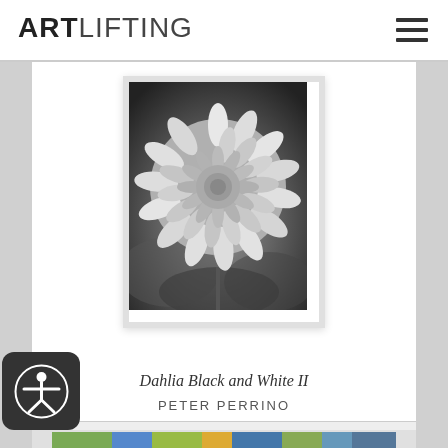ARTLIFTING
[Figure (photo): Black and white close-up photograph of a dahlia flower with layered petals, framed in a white border]
Dahlia Black and White II
PETER PERRINO
[Figure (photo): Partial view of next artwork card at bottom of page, colorful painting]